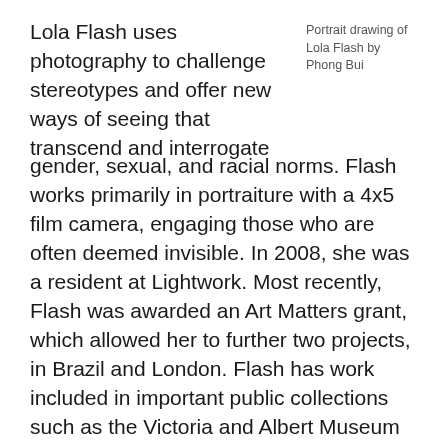Lola Flash uses photography to challenge stereotypes and offer new ways of seeing that transcend and interrogate
Portrait drawing of Lola Flash by Phong Bui
gender, sexual, and racial norms. Flash works primarily in portraiture with a 4x5 film camera, engaging those who are often deemed invisible. In 2008, she was a resident at Lightwork. Most recently, Flash was awarded an Art Matters grant, which allowed her to further two projects, in Brazil and London. Flash has work included in important public collections such as the Victoria and Albert Museum in London. Her work is featured in the publication Posing Beauty, edited by Deb Willis, currently on exhibit across the US, and she is in the current award-winning film “Through A Lens Darkly”.